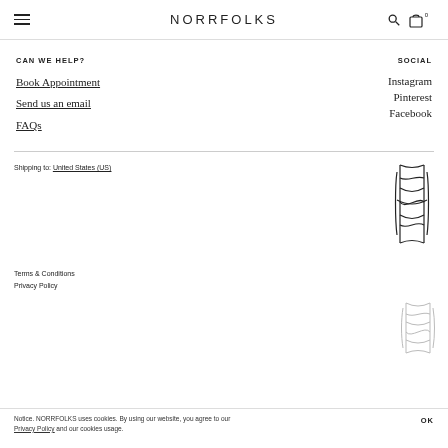NORRFOLKS
CAN WE HELP?
Book Appointment
Send us an email
FAQs
SOCIAL
Instagram
Pinterest
Facebook
Shipping to: United States (US)
[Figure (logo): Norrfolks decorative monogram logo symbol, large]
Terms & Conditions
Privacy Policy
[Figure (logo): Norrfolks decorative monogram logo symbol, small/lighter]
Notice. NORRFOLKS uses cookies. By using our website, you agree to our Privacy Policy and our cookies usage. OK